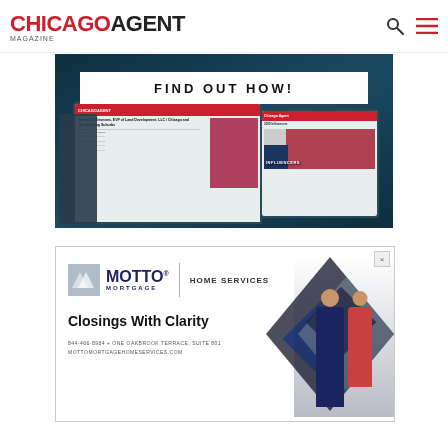CHICAGO AGENT MAGAZINE
[Figure (illustration): Chicago Agent Magazine advertisement showing digital devices (laptop and tablet) displaying magazine content, with 'FIND OUT HOW!' banner at top, over a dark blue aerial background.]
[Figure (illustration): Motto Mortgage Home Services advertisement with logo, 'Closings With Clarity' tagline, contact info '844-466-8984 + ONE OAKBROOK TERRACE, SUITE 801 MOTTOMORTGAGEHOMESERVICES.COM', and diamond graphic with people on right side.]